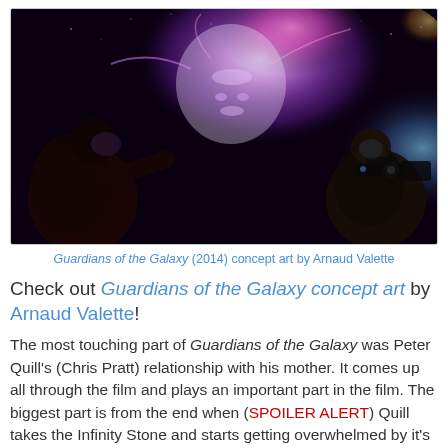[Figure (illustration): Concept art from Guardians of the Galaxy (2014) by Arnaud Valette. Shows a figure on the left looking at a cosmic nebula-like face made of purple and pink energy, with another figure on the right holding weapons.]
Guardians of the Galaxy (2014) concept art by Arnaud Valette
Check out Guardians of the Galaxy concept art by Arnaud Valette!
The most touching part of Guardians of the Galaxy was Peter Quill's (Chris Pratt) relationship with his mother. It comes up all through the film and plays an important part in the film. The biggest part is from the end when (SPOILER ALERT) Quill takes the Infinity Stone and starts getting overwhelmed by it's power. It almost kills him until Gamora tells him to take her hand. He flashes back to when he didn't have the courage to take his mother's hand in the hospital